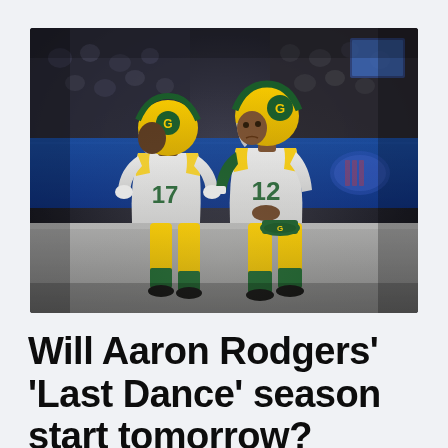[Figure (photo): Two Green Bay Packers players in yellow and white uniforms with green numbers — player #17 and player #12 (Aaron Rodgers) — standing on a football field in an indoor stadium with blue wall padding and an NFL shield logo visible in the background.]
Will Aaron Rodgers' 'Last Dance' season start tomorrow?